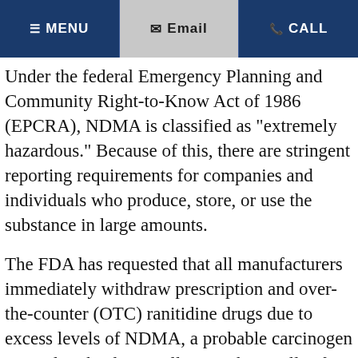MENU | Email | CALL
Under the federal Emergency Planning and Community Right-to-Know Act of 1986 (EPCRA), NDMA is classified as “extremely hazardous.” Because of this, there are stringent reporting requirements for companies and individuals who produce, store, or use the substance in large amounts.
The FDA has requested that all manufacturers immediately withdraw prescription and over-the-counter (OTC) ranitidine drugs due to excess levels of NDMA, a probable carcinogen created in the drug. Following the recalls of its brand name Zantac in late 2019, the FDA undertook additional testing which confirms that NDMA levels increase in ranitidine even under normal storage conditions and significantly increases NDMA in ranitidine